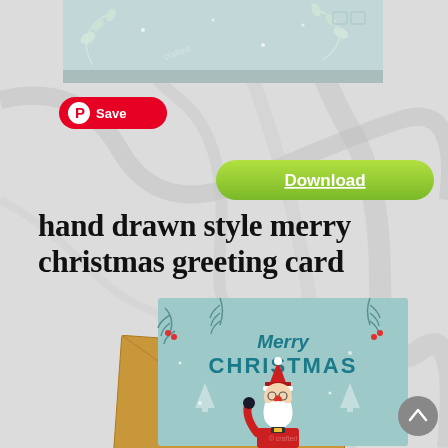[Figure (illustration): Top partial view of a Christmas greeting card with pale teal/mint background showing decorative leaf/branch motifs, partially cropped at top of page]
[Figure (illustration): Pinterest Save button with red rounded rectangle background, Pinterest circle P logo icon, and white text 'Save']
[Figure (illustration): Green pill-shaped Download button with white underlined text 'Download']
hand drawn style merry christmas greeting card
[Figure (illustration): Bottom Christmas greeting card showing 'Merry Christmas' text in teal hand-drawn font with decorative pine branches around border, Santa Claus cartoon character waving, wearing red hat and coat, with white beard, placed on top of a kraft paper envelope. Marble background visible around cards.]